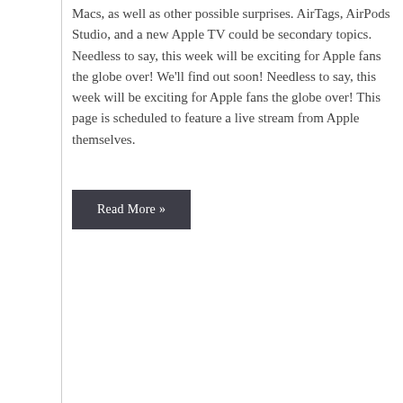Macs, as well as other possible surprises. AirTags, AirPods Studio, and a new Apple TV could be secondary topics. Needless to say, this week will be exciting for Apple fans the globe over! We'll find out soon! Needless to say, this week will be exciting for Apple fans the globe over! This page is scheduled to feature a live stream from Apple themselves.
Read More »